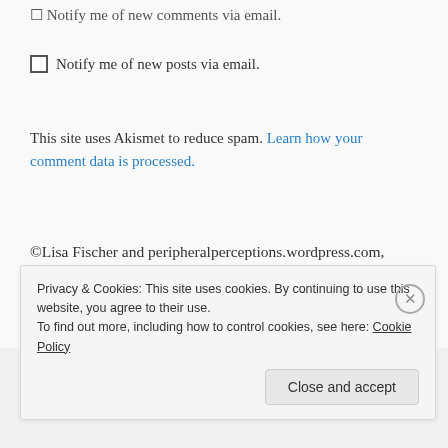☐ Notify me of new comments via email.
☐ Notify me of new posts via email.
This site uses Akismet to reduce spam. Learn how your comment data is processed.
©Lisa Fischer and peripheralperceptions.wordpress.com, 2009–present. Unauthorized use and/or duplication of this material without express and written permission from this site's
Privacy & Cookies: This site uses cookies. By continuing to use this website, you agree to their use.
To find out more, including how to control cookies, see here: Cookie Policy
Close and accept